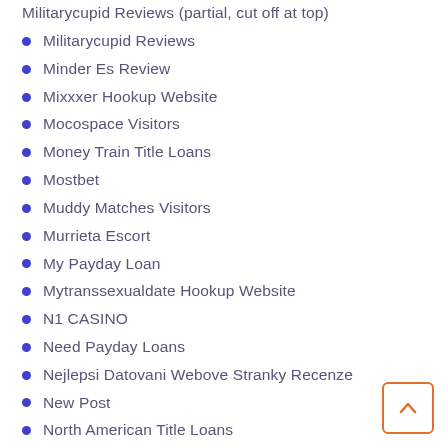Militarycupid Reviews
Minder Es Review
Mixxxer Hookup Website
Mocospace Visitors
Money Train Title Loans
Mostbet
Muddy Matches Visitors
Murrieta Escort
My Payday Loan
Mytranssexualdate Hookup Website
N1 CASINO
Need Payday Loans
Nejlepsi Datovani Webove Stranky Recenze
New Post
North American Title Loans